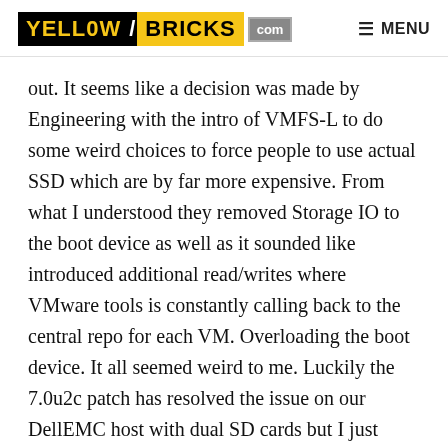YELLOW/BRICKS .com   MENU
out. It seems like a decision was made by Engineering with the intro of VMFS-L to do some weird choices to force people to use actual SSD which are by far more expensive. From what I understood they removed Storage IO to the boot device as well as it sounded like introduced additional read/writes where VMware tools is constantly calling back to the central repo for each VM. Overloading the boot device. It all seemed weird to me. Luckily the 7.0u2c patch has resolved the issue on our DellEMC host with dual SD cards but I just don't buy they are quicker to fail. There